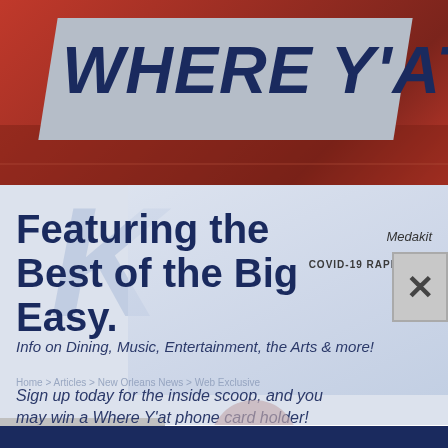[Figure (logo): Where Y'at magazine logo on a gray parallelogram banner with red city background]
[Figure (screenshot): Close button (X) overlay in top right of content area]
Featuring the Best of the Big Easy.
Info on Dining, Music, Entertainment, the Arts & more!
Sign up today for the inside scoop, and you may win a Where Y'at phone card holder!